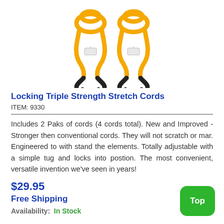[Figure (photo): Two yellow locking triple strength stretch cords with black hooks at the bottom, bundled together with tags.]
Locking Triple Strength Stretch Cords
ITEM: 9330
Includes 2 Paks of cords (4 cords total). New and Improved - Stronger then conventional cords. They will not scratch or mar. Engineered to with stand the elements. Totally adjustable with a simple tug and locks into postion. The most convenient, versatile invention we've seen in years!
$29.95
Free Shipping
Availability:  In Stock